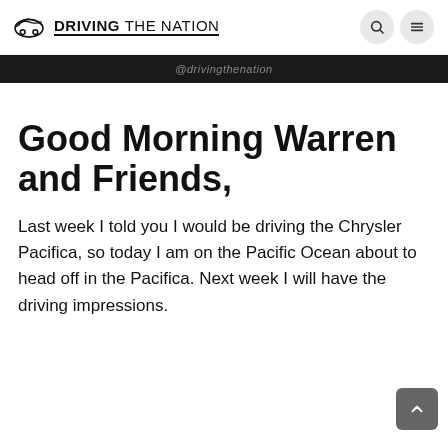DRIVING THE NATION
[Figure (screenshot): Dark banner with @drivingthenation watermark text]
Good Morning Warren and Friends,
Last week I told you I would be driving the Chrysler Pacifica, so today I am on the Pacific Ocean about to head off in the Pacifica. Next week I will have the driving impressions.